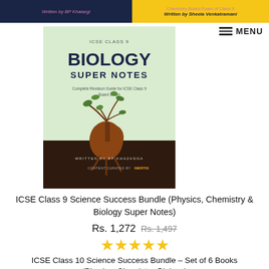[Figure (illustration): Top navigation bar with two book thumbnails — left dark blue background reading 'Written by BP Khatargi', right yellow background reading 'Chemistry Board Exam of Class 9 Written by Sheela Venkatramani']
[Figure (illustration): Book cover: ICSE Class 9 Biology Super Notes, light green background with illustrated heart-tree motif, dark brown soil section at bottom, written by BP Khazanga, content curated by Inertis]
ICSE Class 9 Science Success Bundle (Physics, Chemistry & Biology Super Notes)
Rs. 1,272 Rs. 1,497
[Figure (illustration): Five gold/yellow stars rating]
ICSE Class 10 Science Success Bundle – Set of 6 Books (Physics, Chemistry, Biology)